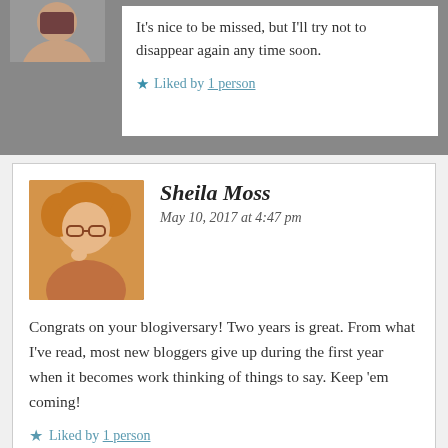It's nice to be missed, but I'll try not to disappear again any time soon.
Liked by 1 person
Sheila Moss
May 10, 2017 at 4:47 pm
Congrats on your blogiversary! Two years is great. From what I've read, most new bloggers give up during the first year when it becomes work thinking of things to say. Keep 'em coming!
Liked by 1 person